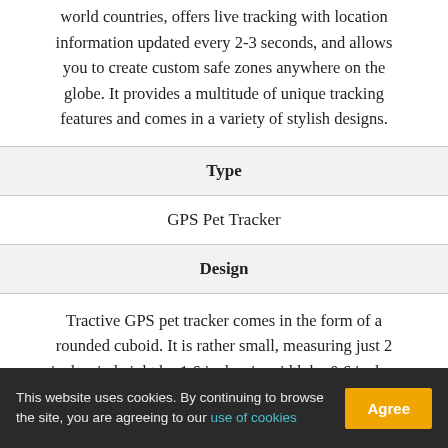world countries, offers live tracking with location information updated every 2-3 seconds, and allows you to create custom safe zones anywhere on the globe. It provides a multitude of unique tracking features and comes in a variety of stylish designs.
| Type |
| --- |
| GPS Pet Tracker |
| Design |
| --- |
| Tractive GPS pet tracker comes in the form of a rounded cuboid. It is rather small, measuring just 2 inches in height by 1.6 inches in width by 0.6 inches in depth. It can be attached to virtually any collar with the use of collar clips provided with the device. You can opt for the white Tractive GPS with a blue... |
This website uses cookies. By continuing to browse the site, you are agreeing to our use of cookies [Agree]